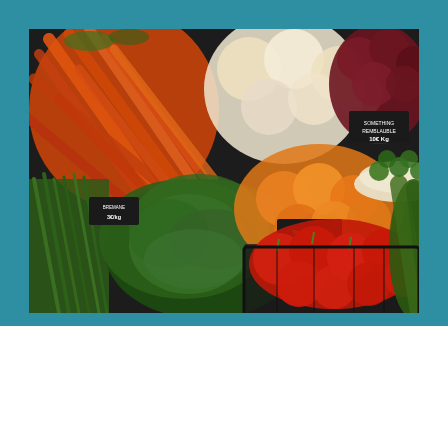[Figure (photo): A colorful outdoor market vegetable and fruit display showing carrots, white onions, dark red fruits, green leafy vegetables, oranges, red tomatoes, cucumbers, and Brussels sprouts with small price signs]
Q: What's the nature of your project and what are you looking to achieve?